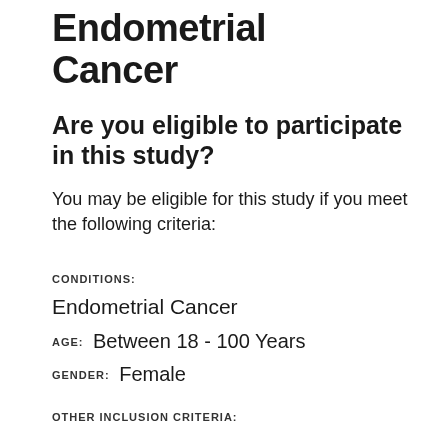Endometrial Cancer
Are you eligible to participate in this study?
You may be eligible for this study if you meet the following criteria:
CONDITIONS: Endometrial Cancer
AGE: Between 18 - 100 Years
GENDER: Female
OTHER INCLUSION CRITERIA: